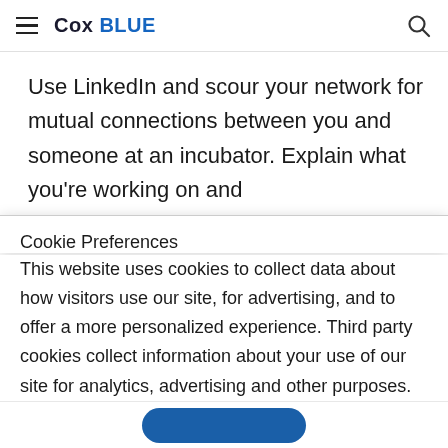Cox BLUE
Use LinkedIn and scour your network for mutual connections between you and someone at an incubator. Explain what you're working on and
Cookie Preferences
This website uses cookies to collect data about how visitors use our site, for advertising, and to offer a more personalized experience. Third party cookies collect information about your use of our site for analytics, advertising and other purposes. To learn more see our Online Privacy Policy and California Privacy Notice.